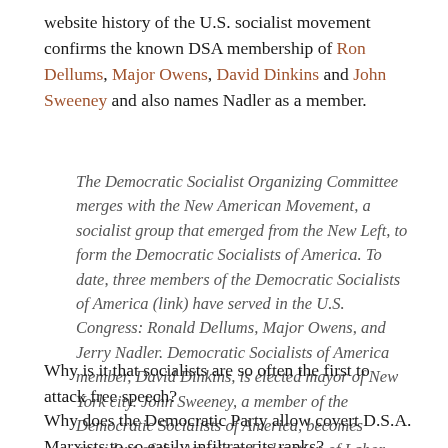website history of the U.S. socialist movement confirms the known DSA membership of Ron Dellums, Major Owens, David Dinkins and John Sweeney and also names Nadler as a member.
The Democratic Socialist Organizing Committee merges with the New American Movement, a socialist group that emerged from the New Left, to form the Democratic Socialists of America. To date, three members of the Democratic Socialists of America (link) have served in the U.S. Congress: Ronald Dellums, Major Owens, and Jerry Nadler. Democratic Socialists of America member, David Dinkins, is elected mayor of New York city. John Sweeney, a member of the Democratic Socialists of America, becomes president of the American Federation of Labor-Congress of Industrial Organizations.
Why is it that socialists are so often the first to attack free speech?
Why does the Democratic Party allow covert D.S.A. Marxists to so easily infiltrate its ranks?